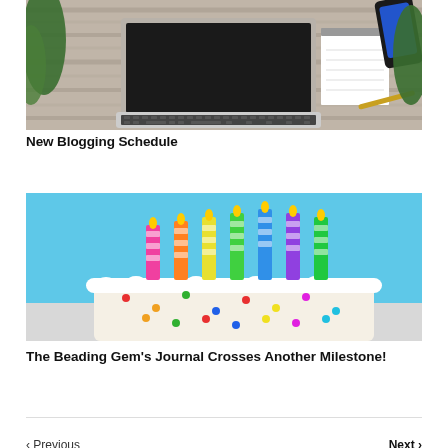[Figure (photo): Top-down view of a laptop, smartphone, notepad, and plants on a wooden desk surface]
New Blogging Schedule
[Figure (photo): A white frosted birthday cake with colorful striped candles on a light blue background]
The Beading Gem's Journal Crosses Another Milestone!
< Previous   Next >